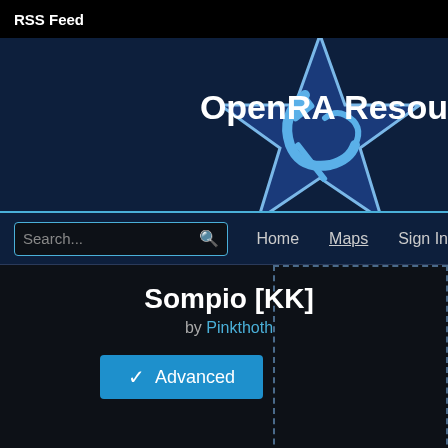RSS Feed
[Figure (logo): OpenRA Resource center logo — blue star with hammer and sickle symbol]
OpenRA Resou
Search...   Home   Maps   Sign In
Sompio [KK]
by Pinkthoth
✓ Advanced
API  stats  162adbe75cac839068aa465e2c7d032
| Previous revision | Revision | Next rev |
| --- | --- | --- |